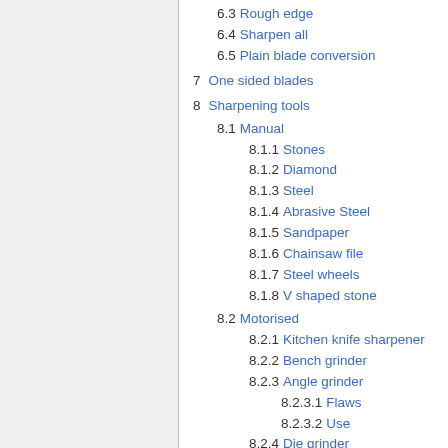6.3 Rough edge
6.4 Sharpen all
6.5 Plain blade conversion
7 One sided blades
8 Sharpening tools
8.1 Manual
8.1.1 Stones
8.1.2 Diamond
8.1.3 Steel
8.1.4 Abrasive Steel
8.1.5 Sandpaper
8.1.6 Chainsaw file
8.1.7 Steel wheels
8.1.8 V shaped stone
8.2 Motorised
8.2.1 Kitchen knife sharpener
8.2.2 Bench grinder
8.2.3 Angle grinder
8.2.3.1 Flaws
8.2.3.2 Use
8.2.4 Die grinder